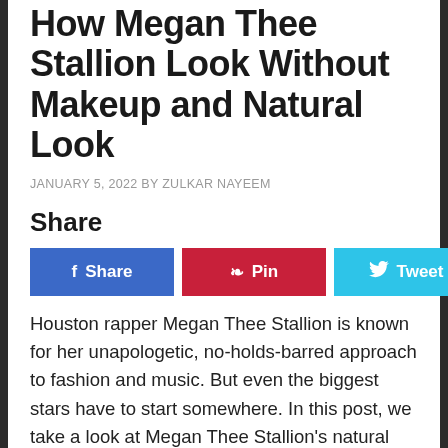How Megan Thee Stallion Look Without Makeup and Natural Look
JANUARY 5, 2022 BY ZULKAR NAYEEM
Share
[Figure (other): Social share buttons: Facebook Share, Pinterest Pin, Twitter Tweet]
Houston rapper Megan Thee Stallion is known for her unapologetic, no-holds-barred approach to fashion and music. But even the biggest stars have to start somewhere. In this post, we take a look at Megan Thee Stallion's natural look – without any makeup on. Needless to say, she's still pretty darn gorgeous! What do you think? In a recent post on her Instagram, Megan Thee Stallion revealed how she looks without makeup and in a more natural